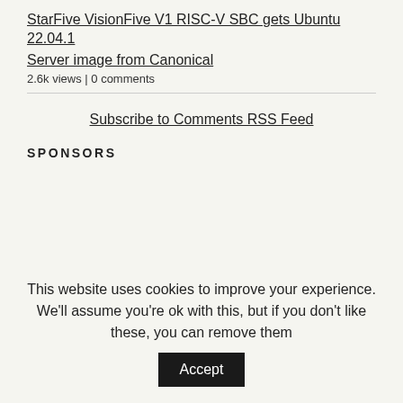StarFive VisionFive V1 RISC-V SBC gets Ubuntu 22.04.1 Server image from Canonical
2.6k views | 0 comments
Subscribe to Comments RSS Feed
SPONSORS
RECENT COMMENTS
This website uses cookies to improve your experience. We'll assume you're ok with this, but if you don't like these, you can remove them